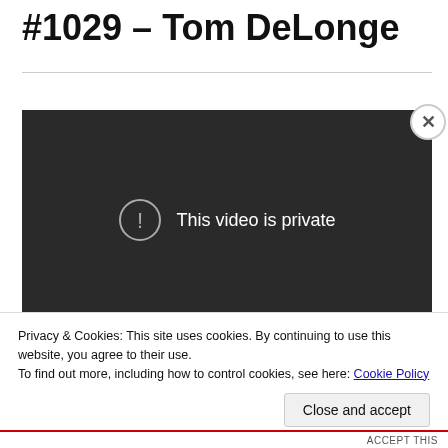#1029 – Tom DeLonge
[Figure (screenshot): Embedded video player showing 'This video is private' message with exclamation circle icon on dark background]
Privacy & Cookies: This site uses cookies. By continuing to use this website, you agree to their use.
To find out more, including how to control cookies, see here: Cookie Policy
Close and accept